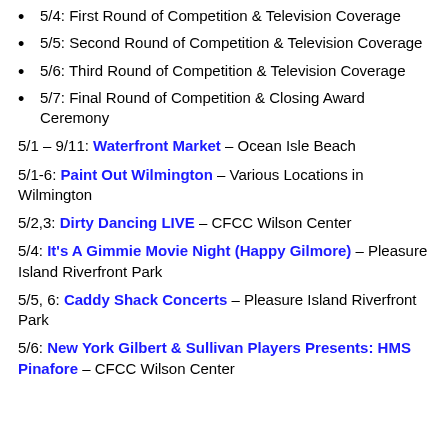5/4: First Round of Competition & Television Coverage
5/5: Second Round of Competition & Television Coverage
5/6: Third Round of Competition & Television Coverage
5/7: Final Round of Competition & Closing Award Ceremony
5/1 – 9/11: Waterfront Market – Ocean Isle Beach
5/1-6: Paint Out Wilmington – Various Locations in Wilmington
5/2,3: Dirty Dancing LIVE – CFCC Wilson Center
5/4: It's A Gimmie Movie Night (Happy Gilmore) – Pleasure Island Riverfront Park
5/5, 6: Caddy Shack Concerts – Pleasure Island Riverfront Park
5/6: New York Gilbert & Sullivan Players Presents: HMS Pinafore – CFCC Wilson Center